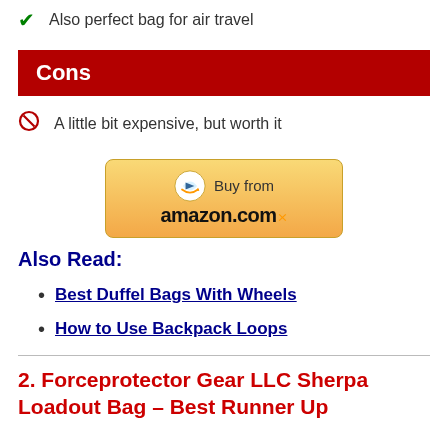✓  Also perfect bag for air travel
Cons
⊘  A little bit expensive, but worth it
[Figure (other): Buy from amazon.com button with Amazon arrow logo]
Also Read:
Best Duffel Bags With Wheels
How to Use Backpack Loops
2. Forceprotector Gear LLC Sherpa Loadout Bag – Best Runner Up